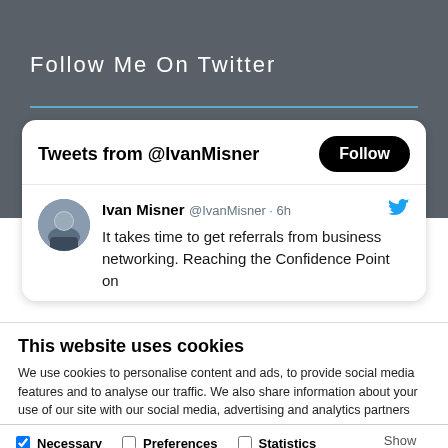Follow Me On Twitter
[Figure (screenshot): Twitter widget showing tweets from @IvanMisner with a Follow button and a tweet reading: It takes time to get referrals from business networking. Reaching the Confidence Point on...]
This website uses cookies
We use cookies to personalise content and ads, to provide social media features and to analyse our traffic. We also share information about your use of our site with our social media, advertising and analytics partners who may combine it with other information that you've provided to them or that they've collected from your use of their services.
Deny | Allow selection | Allow all
Necessary  Preferences  Statistics  Marketing  Show details